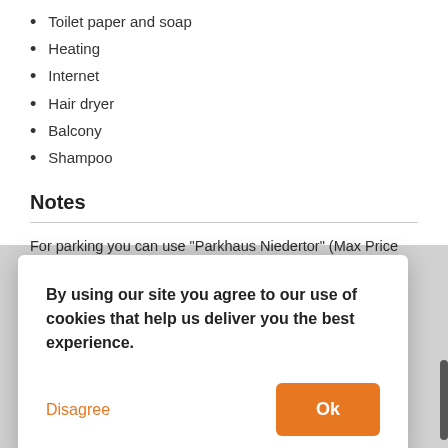Toilet paper and soap
Heating
Internet
Hair dryer
Balcony
Shampoo
Notes
For parking you can use "Parkhaus Niedertor" (Max Price 10€/day), Adolf-Flecken-Straße, 41460 Neuss, https://cityparkhaus-neuss.de or use public parkplaces (depends on time of day and weekday, for a fee. Free on sundays and after 18:00).
By using our site you agree to our use of cookies that help us deliver you the best experience.
Disagree
Ok
Super comfortable. You can go basically anywhere in the city center. The Neuss shopping street Niederstrasse is about 0.2 km